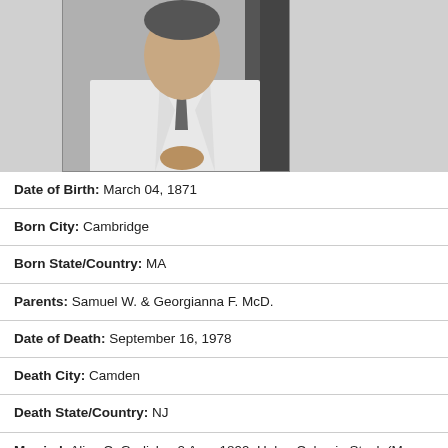[Figure (photo): Black and white photograph of a man in a white suit with a tie, hands clasped, with dark textured background]
Date of Birth: March 04, 1871
Born City: Cambridge
Born State/Country: MA
Parents: Samuel W. & Georgianna F. McD.
Date of Death: September 16, 1978
Death City: Camden
Death State/Country: NJ
Married: Alice C. Garlichs, 2 Aug. 1899; Helen Celemia Stock (Mrs. Herbert W. Brown), 1950